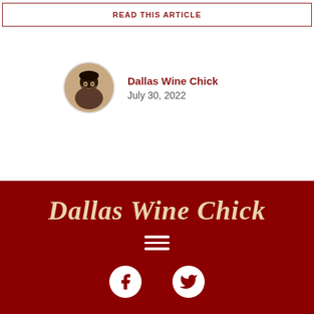READ THIS ARTICLE
Dallas Wine Chick
July 30, 2022
[Figure (logo): Dallas Wine Chick website footer with cursive logo text, hamburger menu icon, and Facebook and Twitter social icons on dark red background]